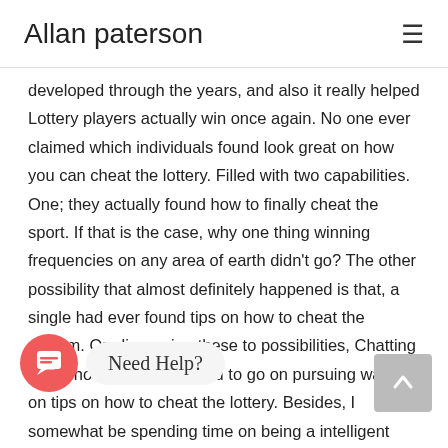Allan paterson
developed through the years, and also it really helped Lottery players actually win once again. No one ever claimed which individuals found look great on how you can cheat the lottery. Filled with two capabilities. One; they actually found how to finally cheat the sport. If that is the case, why one thing winning frequencies on any area of earth didn't go? The other possibility that almost definitely happened is that, a single had ever found tips on how to cheat the system. On discussing these to possibilities, Chatting about how wouldn't for you to go on pursuing ways on tips on how to cheat the lottery. Besides, I somewhat be spending time on being a intelligent player of video game.
[Figure (other): Chat widget with red circular icon and 'Need Help?' speech bubble]
Learning what needs always be remembered associated to knowing how to have [????] playing the lottery for free is pivotal.